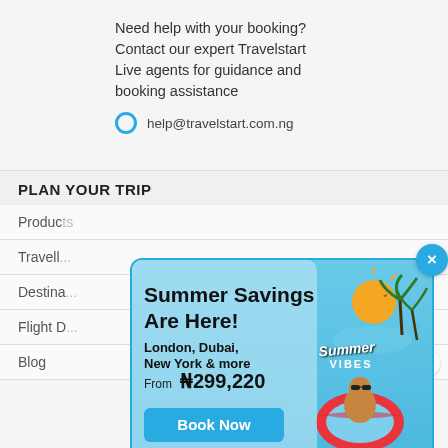Need help with your booking? Contact our expert Travelstart Live agents for guidance and booking assistance
help@travelstart.com.ng
PLAN YOUR TRIP
Products
Travell...
Destina...
Flight D...
Blog
[Figure (infographic): Summer Savings popup ad with blue pool background, baby floating in red ring, Summer Vibes logo, text: Summer Savings Are Here! London, Dubai, New York & more From ₦299,220, Book Now button]